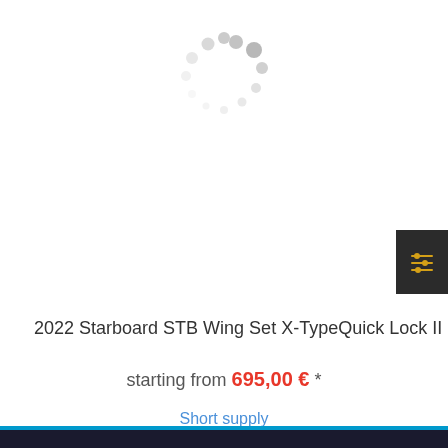[Figure (illustration): Circular loading spinner made of grey dots in various sizes arranged in a circle pattern, indicating content loading]
[Figure (other): Dark grey square filter/settings button with golden yellow sliders icon (equalizer icon) on the right side of the page]
2022 Starboard STB Wing Set X-TypeQuick Lock II
starting from 695,00 € *
Short supply